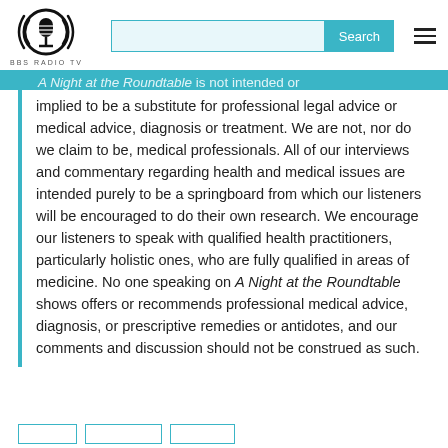BBS RADIO TV [logo with search bar]
implied to be a substitute for professional legal advice or medical advice, diagnosis or treatment. We are not, nor do we claim to be, medical professionals. All of our interviews and commentary regarding health and medical issues are intended purely to be a springboard from which our listeners will be encouraged to do their own research. We encourage our listeners to speak with qualified health practitioners, particularly holistic ones, who are fully qualified in areas of medicine. No one speaking on A Night at the Roundtable shows offers or recommends professional medical advice, diagnosis, or prescriptive remedies or antidotes, and our comments and discussion should not be construed as such.